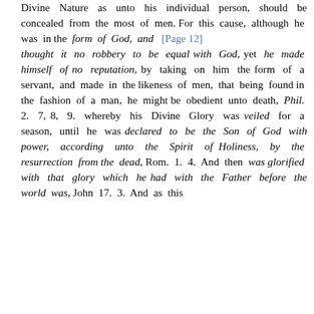Divine Nature as unto his individual person, should be concealed from the most of men. For this cause, although he was in the form of God, and [Page 12] thought it no robbery to be equal with God, yet he made himself of no reputation, by taking on him the form of a servant, and made in the likeness of men, that being found in the fashion of a man, he might be obedient unto death, Phil. 2. 7, 8, 9. whereby his Divine Glory was veiled for a season, until he was declared to be the Son of God with power, according unto the Spirit of Holiness, by the resurrection from the dead, Rom. 1. 4. And then was glorified with that glory which he had with the Father before the world was, John 17. 3. And as this